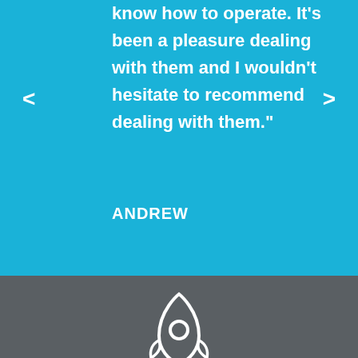know how to operate. It's been a pleasure dealing with them and I wouldn't hesitate to recommend dealing with them."
ANDREW
[Figure (illustration): White rocket ship icon outline on dark gray background]